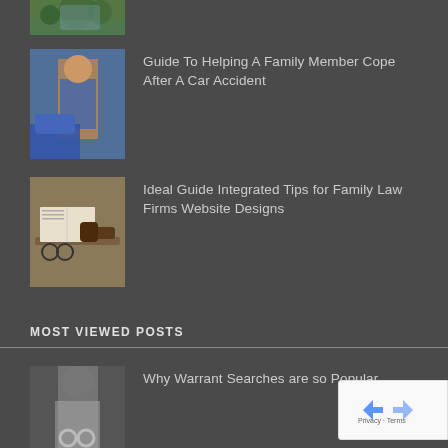[Figure (photo): Partial top image of colorful aerial/garden view, cropped at top of page]
[Figure (photo): Woman standing next to a car, holding a phone, wearing jeans]
Guide To Helping A Family Member Cope After A Car Accident
[Figure (photo): Legal books, gavel and glasses on a desk, representing family law]
Ideal Guide Integrated Tips for Family Law Firms Website Designs
MOST VIEWED POSTS
[Figure (photo): Person with handcuffs behind their back, representing warrant searches]
Why Warrant Searches are so Popular